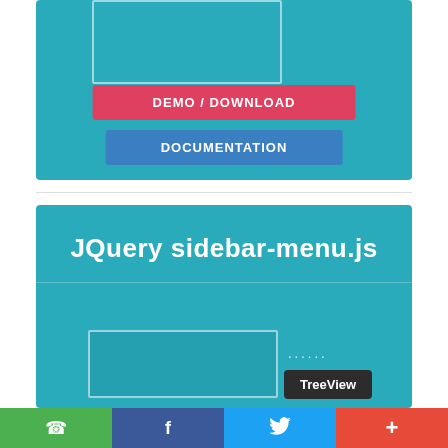[Figure (screenshot): Partial screenshot card with teal background and white-bordered inner box, showing DEMO/DOWNLOAD red button and DOCUMENTATION blue button]
[Figure (screenshot): Teal card with title 'JQuery sidebar-menu.js', a white-bordered screenshot placeholder, dots, and a TreeView dark badge]
DEMO / DOWNLOAD
DOCUMENTATION
JQuery sidebar-menu.js
TreeView
WhatsApp | Facebook | Twitter | More